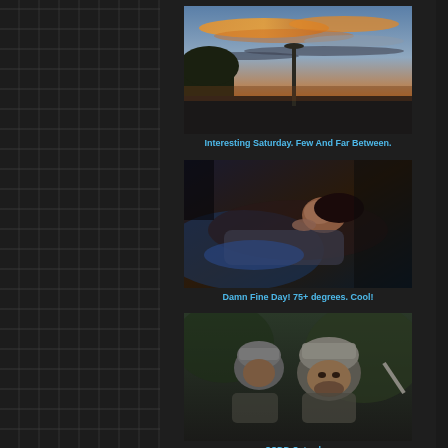[Figure (photo): Sunset sky with dramatic orange and blue clouds, silhouette of a street lamp and trees]
Interesting Saturday. Few And Far Between.
[Figure (photo): Woman lying down in dim blue light, appearing to be resting or sleeping]
Damn Fine Day! 75+ degrees. Cool!
[Figure (photo): Two armored warrior figures wearing helmets, appearing to be from a video game or fantasy setting]
SSDD Saturday